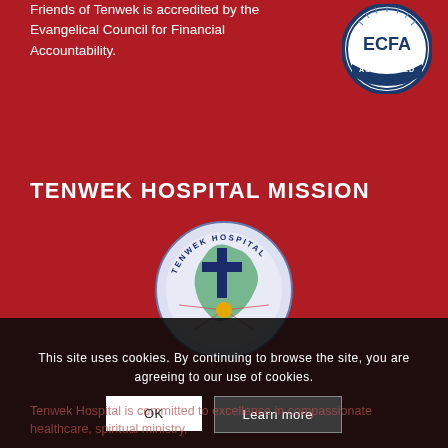Friends of Tenwek is accredited by the Evangelical Council for Financial Accountability.
[Figure (logo): ECFA Accredited circular badge logo with blue border and white background]
TENWEK HOSPITAL MISSION
[Figure (logo): Tenwek Hospital circular logo with cross and map of Kenya]
This site uses cookies. By continuing to browse the site, you are agreeing to our use of cookies.
OK
Learn more
Tenwek Hospital is committed to excellence in compassionate healthcare, spiritual ministry,